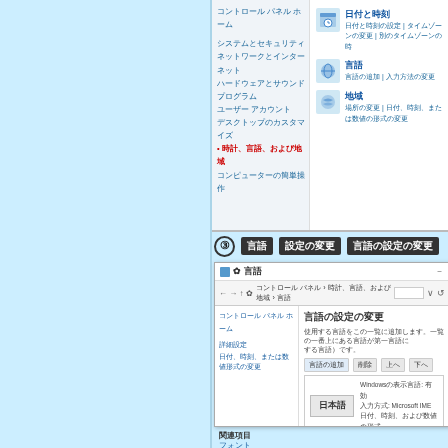[Figure (screenshot): Windows Control Panel screenshot showing 'Clock, Language, and Region' category selected, with navigation menu on left and content icons on right showing Date and Time, Language (言語), and Region (地域) settings.]
③ 言語　設定の変更　言語の設定の変更
[Figure (screenshot): Windows Language settings panel (言語) showing breadcrumb navigation to Control Panel > 時計、言語、および地域 > 言語. Left panel shows コントロール パネル ホーム, 詳細設定, 日付、時刻、または数値形式の変更. Right panel shows 言語の設定の変更 title, descriptive text, 言語の追加 toolbar button, and Japanese language (日本語) entry showing Windowsの表示言語:有効, 入力方式:Microsoft IME, 日付、時刻、および数値の形式.]
関連項目
フォント